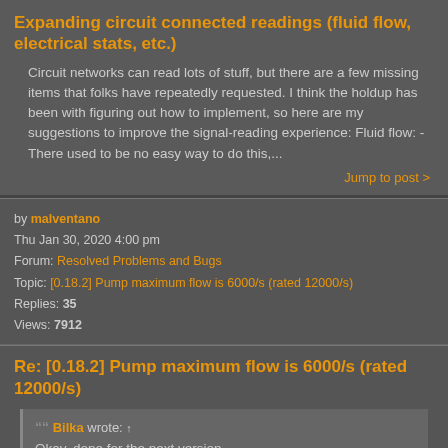Expanding circuit connected readings (fluid flow, electrical stats, etc.)
Circuit networks can read lots of stuff, but there are a few missing items that folks have repeatedly requested. I think the holdup has been with figuring out how to implement, so here are my suggestions to improve the signal-reading experience: Fluid flow: - There used to be no easy way to do this,...
Jump to post >
by malventano
Thu Jan 30, 2020 4:00 pm
Forum: Resolved Problems and Bugs
Topic: [0.18.2] Pump maximum flow is 6000/s (rated 12000/s)
Replies: 35
Views: 7912
Re: [0.18.2] Pump maximum flow is 6000/s (rated 12000/s)
Bilka wrote: Okay, done for the next version.
Thank you! While you were testing that, did you notice the